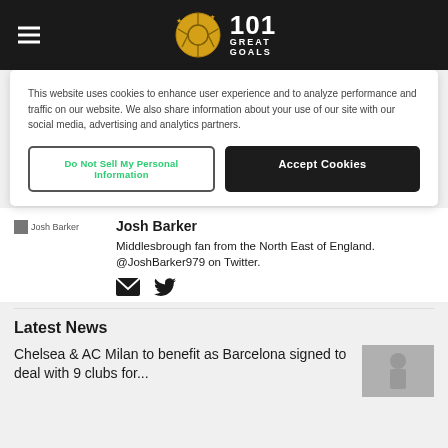101 Great Goals
This website uses cookies to enhance user experience and to analyze performance and traffic on our website. We also share information about your use of our site with our social media, advertising and analytics partners.
Do Not Sell My Personal Information
Accept Cookies
Josh Barker
Middlesbrough fan from the North East of England. @JoshBarker979 on Twitter.
Latest News
Chelsea & AC Milan to benefit as Barcelona signed to deal with 9 clubs for...